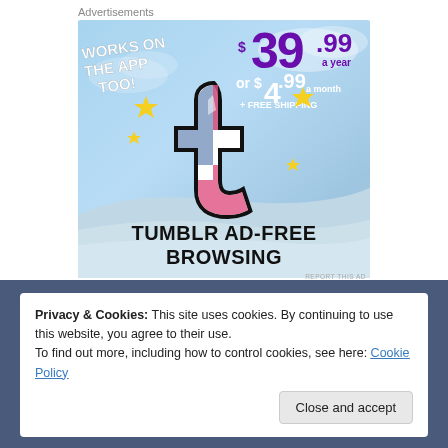Advertisements
[Figure (illustration): Tumblr Ad-Free Browsing advertisement showing the Tumblr 't' logo with sparkles on a blue sky background. Text reads: WORKS ON THE APP TOO!, $39.99 a year or $4.99 a month + FREE SHIPPING, TUMBLR AD-FREE BROWSING]
REPORT THIS AD
Privacy & Cookies: This site uses cookies. By continuing to use this website, you agree to their use.
To find out more, including how to control cookies, see here: Cookie Policy
Close and accept